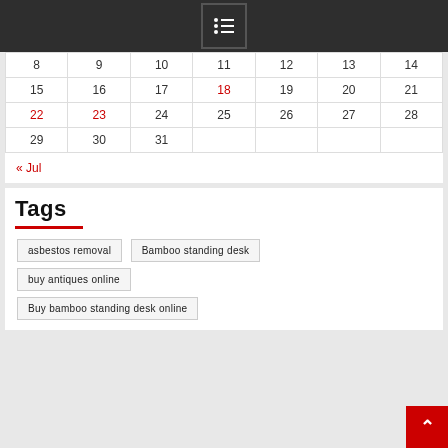[Figure (other): Dark top navigation bar with menu/list icon (bullet list symbol)]
| 8 | 9 | 10 | 11 | 12 | 13 | 14 |
| 15 | 16 | 17 | 18 | 19 | 20 | 21 |
| 22 | 23 | 24 | 25 | 26 | 27 | 28 |
| 29 | 30 | 31 |  |  |  |  |
« Jul
Tags
asbestos removal
Bamboo standing desk
buy antiques online
Buy bamboo standing desk online